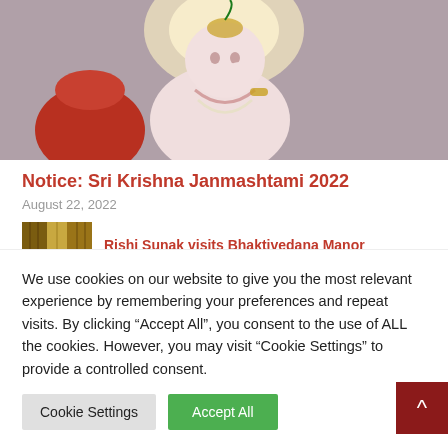[Figure (photo): Illustration of baby Krishna (Bal Krishna) adorned with gold jewelry and pearl necklaces, sitting against a dark background with a red pot]
Notice: Sri Krishna Janmashtami 2022
August 22, 2022
[Figure (photo): Small thumbnail image showing a temple or manor interior with golden decorations]
Rishi Sunak visits Bhaktivedana Manor
We use cookies on our website to give you the most relevant experience by remembering your preferences and repeat visits. By clicking “Accept All”, you consent to the use of ALL the cookies. However, you may visit "Cookie Settings" to provide a controlled consent.